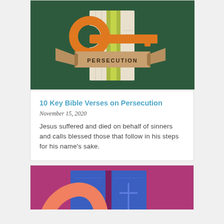[Figure (illustration): Illustration on dark green background showing an orange key with a banner ribbon wrapped around it reading 'PERSECUTION', with what appears to be open books or pages in the background with yellow-green vertical stripe]
10 Key Bible Verses on Persecution
November 15, 2020
Jesus suffered and died on behalf of sinners and calls blessed those that follow in his steps for his name's sake.
[Figure (illustration): Partial illustration on purple/magenta background showing blue rectangular panels/books with a cross symbol and a peach/salmon colored curved shape (partial key or arch) in the foreground]